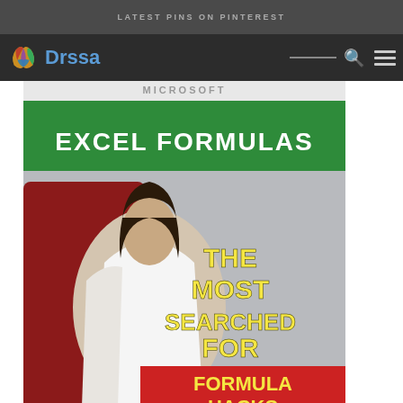LATEST PINS ON PINTEREST
[Figure (logo): Drssa website logo with colorful butterfly/leaf icon and blue text 'Drssa', navigation bar with search icon and hamburger menu]
[Figure (photo): Pinterest pin image showing Microsoft Excel Formulas promotional graphic. Green header with 'EXCEL FORMULAS' text. Woman in white sleeveless shirt sitting in red chair looking down at something. Yellow bold text reads 'THE MOST SEARCHED FOR'. Red banner with yellow bold text 'FORMULA HACKS'. Bottom watermark: myexcelonline.com]